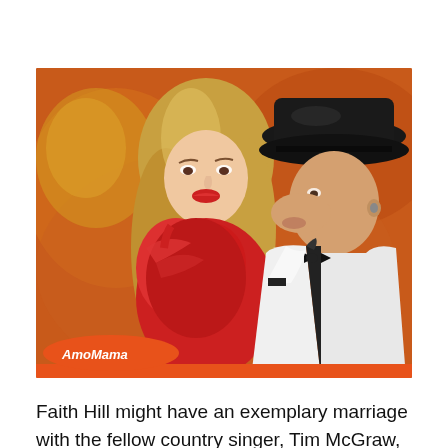[Figure (photo): Faith Hill and Tim McGraw at a performance. Faith Hill is wearing a red dress with blonde hair and red lipstick. Tim McGraw is wearing a black cowboy hat and white jacket, kissing Faith Hill on the cheek. AmoMama logo badge in bottom left corner of photo.]
Faith Hill might have an exemplary marriage with the fellow country singer, Tim McGraw, but her childhood had some trauma. Her parents weren't her biological ones as she